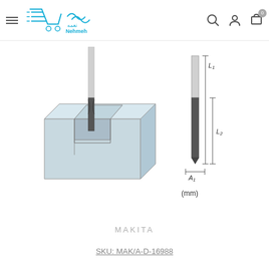[Figure (logo): Nehmeh online store logo with shopping cart icon and Arabic text]
[Figure (engineering-diagram): Makita router bit / straight bit tool shown in 3D perspective cutting a rectangular slot in a block (left), and a dimensional diagram (right) showing L1, L2 length dimensions and A1 width dimension in mm]
MAKITA
SKU: MAK/A-D-16988